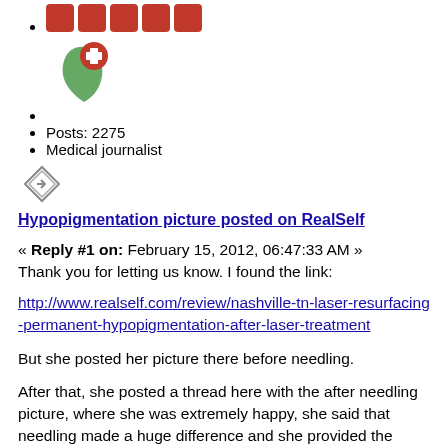[rating boxes - 5 red squares]
[Figure (logo): RealSelf logo with red cross and green leaf shape]
[bullet]
Posts: 2275
Medical journalist
[Figure (other): Edit/pencil icon diamond shape]
Hypopigmentation picture posted on RealSelf
« Reply #1 on: February 15, 2012, 06:47:33 AM »
Thank you for letting us know. I found the link:
http://www.realself.com/review/nashville-tn-laser-resurfacing-permanent-hypopigmentation-after-laser-treatment
But she posted her picture there before needling.
After that, she posted a thread here with the after needling picture, where she was extremely happy, she said that needling made a huge difference and she provided the evidence in the form of the picture we posted.